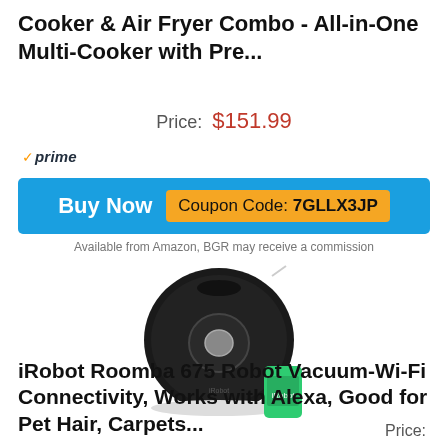Cooker & Air Fryer Combo - All-in-One Multi-Cooker with Pre...
Price:  $151.99
✓prime
[Figure (other): Blue 'Buy Now' button bar with orange coupon code box reading 'Coupon Code: 7GLLX3JP']
Available from Amazon, BGR may receive a commission
[Figure (photo): iRobot Roomba 675 robot vacuum, circular black device, with a green smartphone showing the iRobot app]
iRobot Roomba 675 Robot Vacuum-Wi-Fi Connectivity, Works with Alexa, Good for Pet Hair, Carpets...
Price: